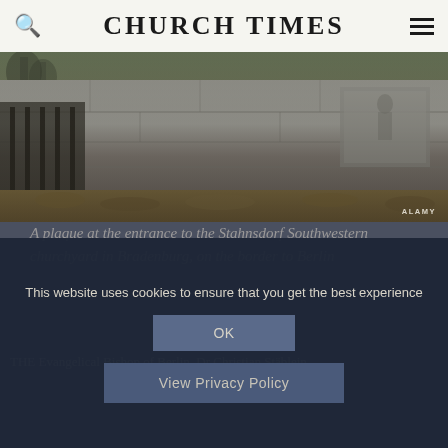CHURCH TIMES
[Figure (photo): A stone plaque or wall at the entrance to the Stahnsdorf Southwestern churchyard in Brandenburg, on the border to Berlin. Autumn leaves visible on the ground. Photo credit: ALAMY]
A plaque at the entrance to the Stahnsdorf Southwestern churchyard in Bradenburg, on the border to Berlin
THE Evangelical Bishop of Berlin, Dr Christian Stäblein,
This website uses cookies to ensure that you get the best experience
OK
View Privacy Policy